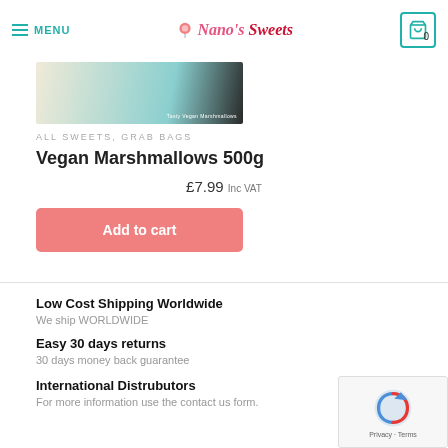MENU | Nano's Sweets | Cart: 0
[Figure (photo): Partial product image of Vegan Marshmallows bag with teal and beige coloring]
ALL SWEETS, GRAB BAGS
Vegan Marshmallows 500g
£7.99 Inc VAT
Add to cart
Low Cost Shipping Worldwide
We ship WORLDWIDE
Easy 30 days returns
30 days money back guarantee
International Distrubutors
For more information use the contact us form.